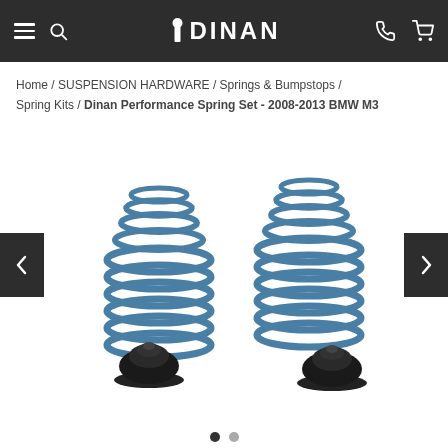DINAN — navigation header with hamburger menu, search, phone, and cart icons
Home / SUSPENSION HARDWARE / Springs & Bumpstops / Spring Kits / Dinan Performance Spring Set - 2008-2013 BMW M3
[Figure (photo): Two blue coil springs with black bumpstops/bump stops for Dinan Performance Spring Set for 2008-2013 BMW M3. Four components total: two large blue coil springs and two black dome-shaped bumpstops arranged on a white background.]